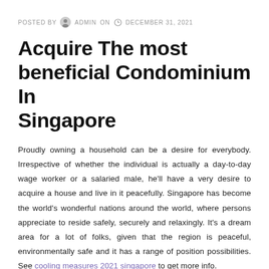POSTED BY ADMIN ON DECEMBER 31, 2021
Acquire The most beneficial Condominium In Singapore
Proudly owning a household can be a desire for everybody. Irrespective of whether the individual is actually a day-to-day wage worker or a salaried male, he'll have a very desire to acquire a house and live in it peacefully. Singapore has become the world's wonderful nations around the world, where persons appreciate to reside safely, securely and relaxingly. It's a dream area for a lot of folks, given that the region is peaceful, environmentally safe and it has a range of position possibilities. See cooling measures 2021 singapore to get more info.